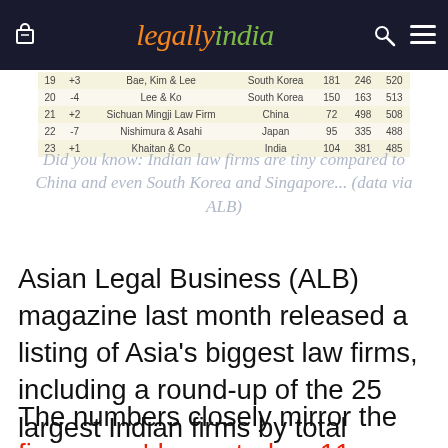legallyindia
| # | ± | Firm | Country | Col1 | Col2 | Col3 |
| --- | --- | --- | --- | --- | --- | --- |
| 19 | +3 | Bae, Kim & Lee | South Korea | 181 | 246 | 520 |
| 20 | -4 | Lee & Ko | South Korea | 150 | 163 | 513 |
| 21 | +2 | Sichuan Mingji Law Firm | China | 72 | 498 | 508 |
| 22 | -7 | Nishimura & Asahi | Japan | 95 | 335 | 488 |
| 23 | +1 | Khaitan & Co | India | 104 | 381 | 485 |
Did you know: Indian law firms are tiny compared to China and even South Korea and Singapore... (data via ALB)
Asian Legal Business (ALB) magazine last month released a listing of Asia's biggest law firms, including a round-up of the 25 largest Indian firms by total headcounts.
The numbers closely mirror the figures we'd reported on 11 November in our